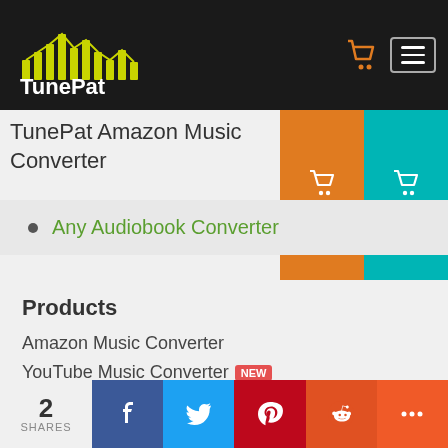TunePat
TunePat Amazon Music Converter
Any Audiobook Converter
Products
Amazon Music Converter
YouTube Music Converter NEW
Pandora Music Converter NEW
Spotify Music Converter
Tidal Media Downloader
Apple Music Converter
2 SHARES